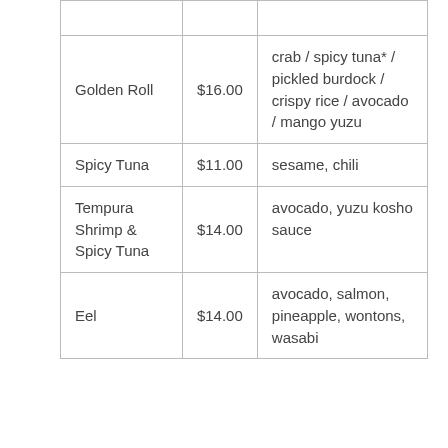|  |  |  |
| Golden Roll | $16.00 | crab / spicy tuna* / pickled burdock / crispy rice / avocado / mango yuzu |
| Spicy Tuna | $11.00 | sesame, chili |
| Tempura Shrimp & Spicy Tuna | $14.00 | avocado, yuzu kosho sauce |
| Eel | $14.00 | avocado, salmon, pineapple, wontons, wasabi |